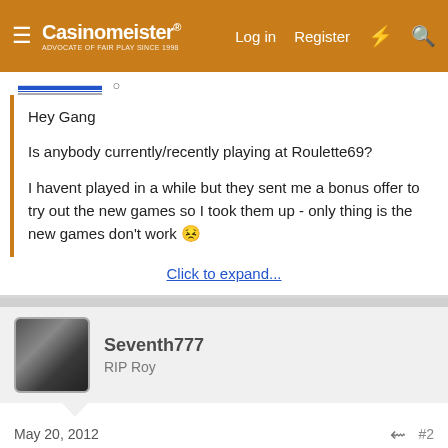Casinomeister® — Log in | Register
Hey Gang

Is anybody currently/recently playing at Roulette69?

I havent played in a while but they sent me a bonus offer to try out the new games so I took them up - only thing is the new games don't work 😣
Click to expand...
Seventh777
RIP Roy
May 20, 2012
#2
This site uses cookies to help personalise content, tailor your experience and to keep you logged in if you register.
By continuing to use this site, you are consenting to our use of cookies.
Accept | Learn more...